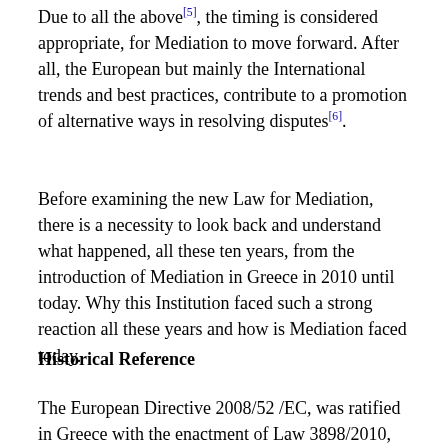Due to all the above[5], the timing is considered appropriate, for Mediation to move forward. After all, the European but mainly the International trends and best practices, contribute to a promotion of alternative ways in resolving disputes[6].
Before examining the new Law for Mediation, there is a necessity to look back and understand what happened, all these ten years, from the introduction of Mediation in Greece in 2010 until today. Why this Institution faced such a strong reaction all these years and how is Mediation faced today.
Historical Reference
The European Directive 2008/52 /EC, was ratified in Greece with the enactment of Law 3898/2010,